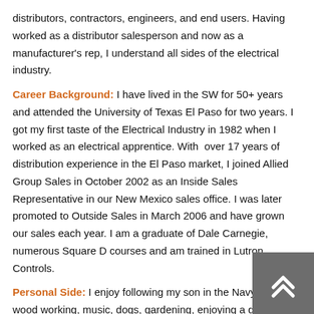distributors, contractors, engineers, and end users. Having worked as a distributor salesperson and now as a manufacturer's rep, I understand all sides of the electrical industry.
Career Background: I have lived in the SW for 50+ years and attended the University of Texas El Paso for two years. I got my first taste of the Electrical Industry in 1982 when I worked as an electrical apprentice. With over 17 years of distribution experience in the El Paso market, I joined Allied Group Sales in October 2002 as an Inside Sales Representative in our New Mexico sales office. I was later promoted to Outside Sales in March 2006 and have grown our sales each year. I am a graduate of Dale Carnegie, numerous Square D courses and am trained in Lutron Controls.
Personal Side: I enjoy following my son in the Navy, golf, wood working, music, dogs, gardening, enjoying a good meal and evening in the back yard with Wanda.